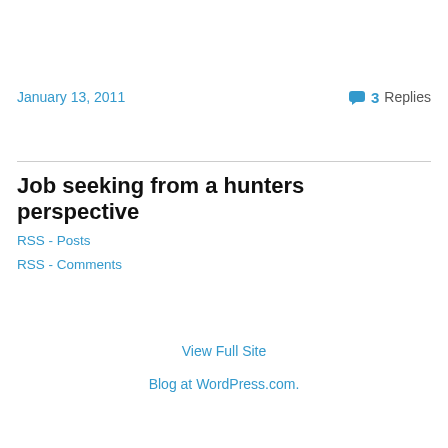January 13, 2011
3 Replies
Job seeking from a hunters perspective
RSS - Posts
RSS - Comments
View Full Site
Blog at WordPress.com.